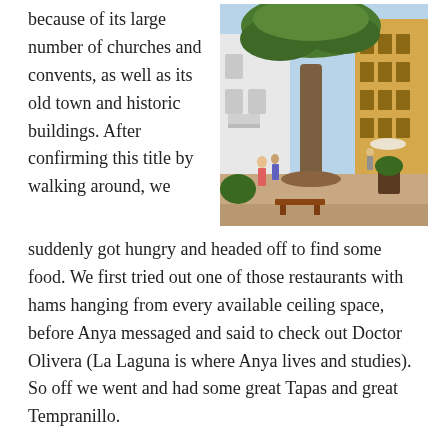because of its large number of churches and convents, as well as its old town and historic buildings. After confirming this title by walking around, we
[Figure (photo): A large dragon tree with wide-spreading canopy in an old town plaza, surrounded by historic white and yellow buildings. People walking in the pedestrian square.]
suddenly got hungry and headed off to find some food. We first tried out one of those restaurants with hams hanging from every available ceiling space, before Anya messaged and said to check out Doctor Olivera (La Laguna is where Anya lives and studies). So off we went and had some great Tapas and great Tempranillo.